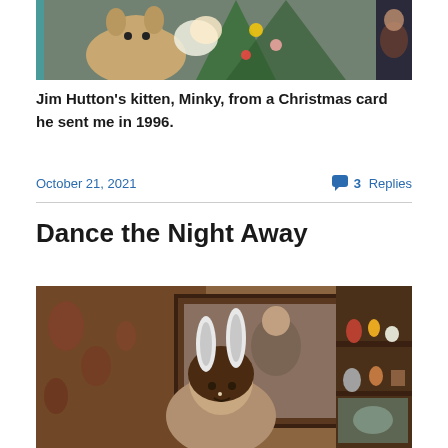[Figure (photo): Partial photo of a kitten (Minky) from a Christmas card, showing cats and holiday decorations, cropped at top of page]
Jim Hutton's kitten, Minky, from a Christmas card he sent me in 1996.
October 21, 2021
3 Replies
Dance the Night Away
[Figure (photo): Vintage photograph of a woman wearing bunny ears headband, sitting in a room with framed paintings and a wooden shelf with collectibles]